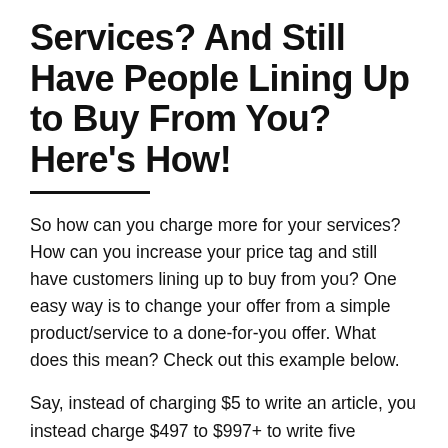Services? And Still Have People Lining Up to Buy From You? Here's How!
So how can you charge more for your services? How can you increase your price tag and still have customers lining up to buy from you? One easy way is to change your offer from a simple product/service to a done-for-you offer. What does this mean? Check out this example below.
Say, instead of charging $5 to write an article, you instead charge $497 to $997+ to write five articles, create a blog, post the articles up, optimize it for their keywords, and have a custom graphic or two. If you were to outsource a $5 article for $2, the first person who buys a $2